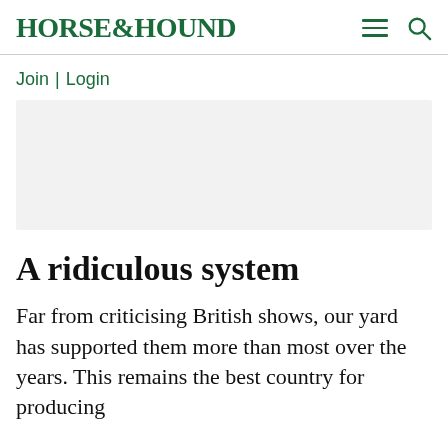HORSE&HOUND
Join | Login
[Figure (other): Advertisement banner placeholder, light grey background]
A ridiculous system
Far from criticising British shows, our yard has supported them more than most over the years. This remains the best country for producing